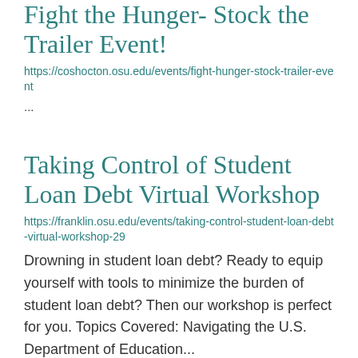Fight the Hunger- Stock the Trailer Event!
https://coshocton.osu.edu/events/fight-hunger-stock-trailer-event
...
Taking Control of Student Loan Debt Virtual Workshop
https://franklin.osu.edu/events/taking-control-student-loan-debt-virtual-workshop-29
Drowning in student loan debt? Ready to equip yourself with tools to minimize the burden of student loan debt? Then our workshop is perfect for you.  Topics Covered: Navigating the U.S. Department of Education...